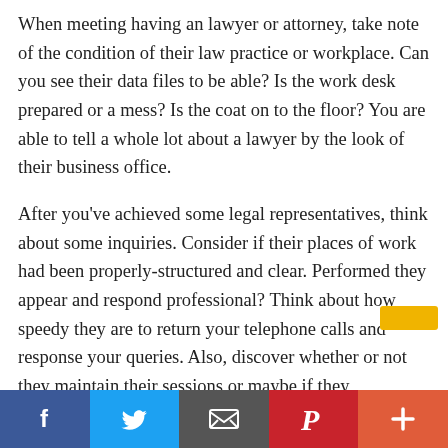When meeting having an lawyer or attorney, take note of the condition of their law practice or workplace. Can you see their data files to be able? Is the work desk prepared or a mess? Is the coat on to the floor? You are able to tell a whole lot about a lawyer by the look of their business office.
After you've achieved some legal representatives, think about some inquiries. Consider if their places of work had been properly-structured and clear. Performed they appear and respond professional? Think about how speedy they are to return your telephone calls and response your queries. Also, discover whether or not they maintain their sessions or maybe if they reschedule often.
It doesn't issue the reasons you call for attorney,
[Figure (infographic): Social media sharing bar with Facebook (blue), Twitter (light blue), Email (dark gray), Pinterest (red), and a plus/more button (orange-red)]